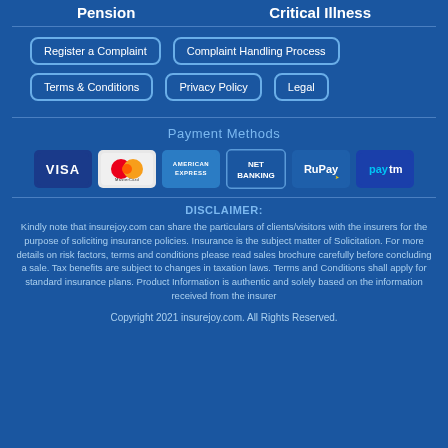Pension   Critical Illness
Register a Complaint
Complaint Handling Process
Terms & Conditions
Privacy Policy
Legal
Payment Methods
[Figure (infographic): Payment method logos: VISA, MasterCard, American Express, NET BANKING, RuPay, Paytm]
DISCLAIMER:
Kindly note that insurejoy.com can share the particulars of clients/visitors with the insurers for the purpose of soliciting insurance policies. Insurance is the subject matter of Solicitation. For more details on risk factors, terms and conditions please read sales brochure carefully before concluding a sale. Tax benefits are subject to changes in taxation laws. Terms and Conditions shall apply for standard insurance plans. Product Information is authentic and solely based on the information received from the insurer
Copyright 2021 insurejoy.com. All Rights Reserved.